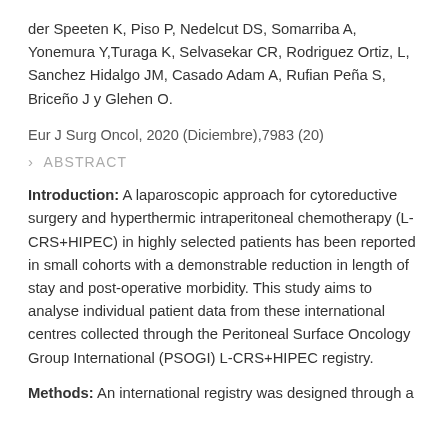der Speeten K, Piso P, Nedelcut DS, Somarriba A, Yonemura Y,Turaga K, Selvasekar CR, Rodriguez Ortiz, L, Sanchez Hidalgo JM, Casado Adam A, Rufian Peña S, Briceño J y Glehen O.
Eur J Surg Oncol, 2020 (Diciembre),7983 (20)
ABSTRACT
Introduction: A laparoscopic approach for cytoreductive surgery and hyperthermic intraperitoneal chemotherapy (L-CRS+HIPEC) in highly selected patients has been reported in small cohorts with a demonstrable reduction in length of stay and post-operative morbidity. This study aims to analyse individual patient data from these international centres collected through the Peritoneal Surface Oncology Group International (PSOGI) L-CRS+HIPEC registry.
Methods: An international registry was designed through a